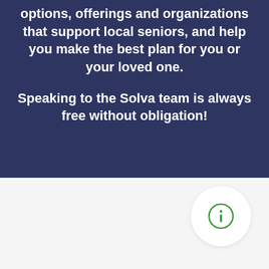options, offerings and organizations that support local seniors, and help you make the best plan for you or your loved one.

Speaking to the Solva team is always free without obligation!
[Figure (illustration): A circular white button with a green info (i) icon in the center, positioned in the lower-right area on a light gray background.]